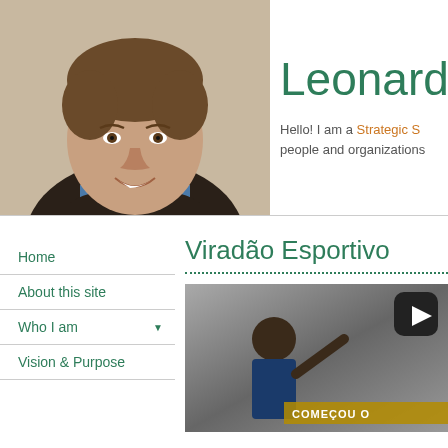[Figure (photo): Portrait photo of Leonardo, a man with short brown hair wearing a blue collared shirt under a dark jacket, smiling]
Leonardo
Hello! I am a Strategic S... people and organizations
Home
About this site
Who I am
Vision & Purpose
Viradão Esportivo
[Figure (photo): Photo of a person stretching outdoors with text overlay COMEÇOU O in yellow/gold on dark background, and a play button icon overlay]